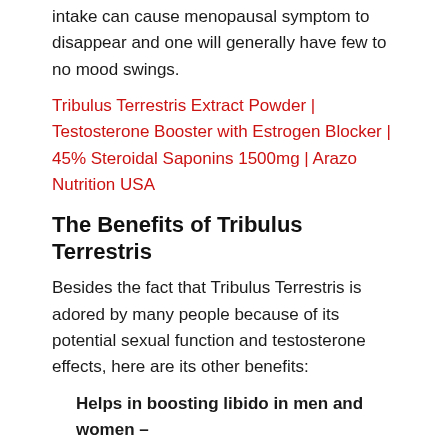intake can cause menopausal symptom to disappear and one will generally have few to no mood swings.
Tribulus Terrestris Extract Powder | Testosterone Booster with Estrogen Blocker | 45% Steroidal Saponins 1500mg | Arazo Nutrition USA
The Benefits of Tribulus Terrestris
Besides the fact that Tribulus Terrestris is adored by many people because of its potential sexual function and testosterone effects, here are its other benefits:
Helps in boosting libido in men and women – Tribulus Terrestris is widely accepted by both traditional as well as western medicine to provide a natural boost to libido. It is said to provide positive aphrodisiac effects thanks to its active ingredient,